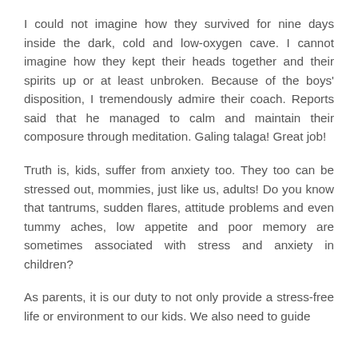I could not imagine how they survived for nine days inside the dark, cold and low-oxygen cave. I cannot imagine how they kept their heads together and their spirits up or at least unbroken. Because of the boys' disposition, I tremendously admire their coach. Reports said that he managed to calm and maintain their composure through meditation. Galing talaga! Great job!
Truth is, kids, suffer from anxiety too. They too can be stressed out, mommies, just like us, adults! Do you know that tantrums, sudden flares, attitude problems and even tummy aches, low appetite and poor memory are sometimes associated with stress and anxiety in children?
As parents, it is our duty to not only provide a stress-free life or environment to our kids. We also need to guide